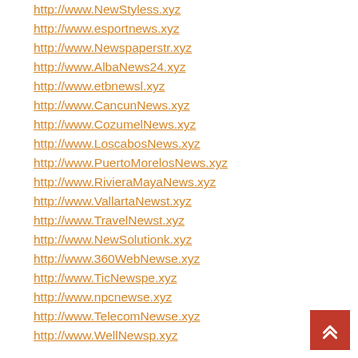http://www.NewStyless.xyz
http://www.esportnews.xyz
http://www.Newspaperstr.xyz
http://www.AlbaNews24.xyz
http://www.etbnewsl.xyz
http://www.CancunNews.xyz
http://www.CozumelNews.xyz
http://www.LoscabosNews.xyz
http://www.PuertoMorelosNews.xyz
http://www.RivieraMayaNews.xyz
http://www.VallartaNewst.xyz
http://www.TravelNewst.xyz
http://www.NewSolutionk.xyz
http://www.360WebNewse.xyz
http://www.TicNewspe.xyz
http://www.npcnewse.xyz
http://www.TelecomNewse.xyz
http://www.WellNewsp.xyz